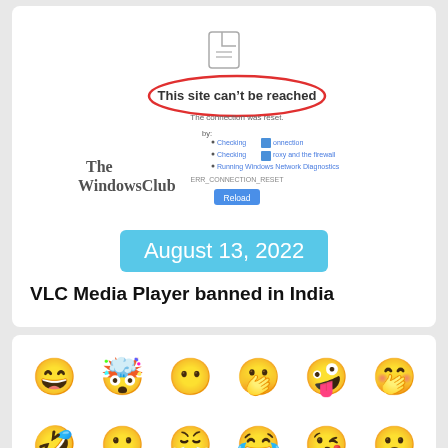[Figure (screenshot): Browser error page screenshot showing 'This site can't be reached' with red oval highlight, The WindowsClub watermark overlay, and a Reload button]
August 13, 2022
VLC Media Player banned in India
[Figure (illustration): Grid of colorful 3D emoji faces showing various expressions including laughing, crying, surprised, smiling, kissing, star-struck, nerdy, etc.]